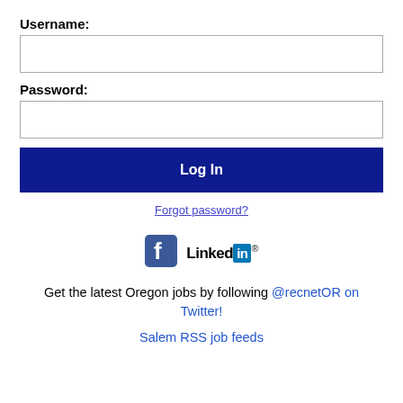Username:
[Figure (other): Username input field (empty text box)]
Password:
[Figure (other): Password input field (empty text box)]
Log In
Forgot password?
[Figure (logo): Facebook logo icon and LinkedIn logo side by side]
Get the latest Oregon jobs by following @recnetOR on Twitter!
Salem RSS job feeds